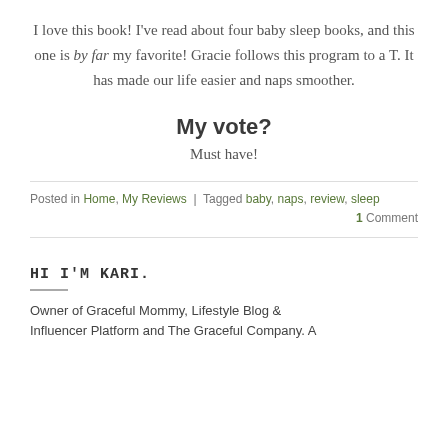I love this book! I've read about four baby sleep books, and this one is by far my favorite! Gracie follows this program to a T. It has made our life easier and naps smoother.
My vote?
Must have!
Posted in Home, My Reviews | Tagged baby, naps, review, sleep   1 Comment
HI I'M KARI.
Owner of Graceful Mommy, Lifestyle Blog & Influencer Platform and The Graceful Company. A